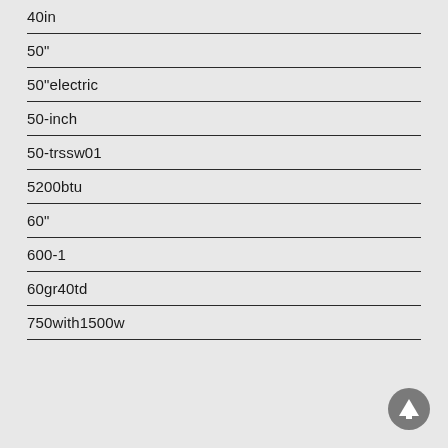40in
50"
50"electric
50-inch
50-trssw01
5200btu
60"
600-1
60gr40td
750with1500w